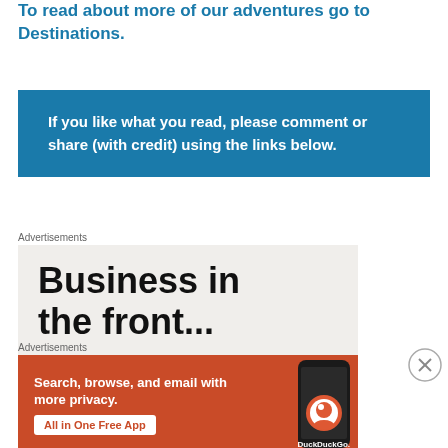To read about more of our adventures go to Destinations.
If you like what you read, please comment or share (with credit) using the links below.
Advertisements
[Figure (other): Advertisement banner: 'Business in the front...' text on light beige background]
Advertisements
[Figure (other): DuckDuckGo advertisement: 'Search, browse, and email with more privacy. All in One Free App' on orange background with phone image]